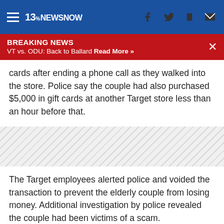13NewsNow
BREAKING NEWS
VT vs. ODU: Back to Ballard Read More »
cards after ending a phone call as they walked into the store. Police say the couple had also purchased $5,000 in gift cards at another Target store less than an hour before that.
[Figure (other): Hatched advertisement placeholder area]
The Target employees alerted police and voided the transaction to prevent the elderly couple from losing money. Additional investigation by police revealed the couple had been victims of a scam.
Police issued the following tips and reminders to avoid being a scam victim: